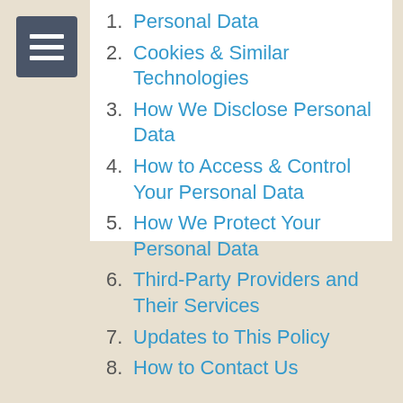1. Personal Data
2. Cookies & Similar Technologies
3. How We Disclose Personal Data
4. How to Access & Control Your Personal Data
5. How We Protect Your Personal Data
6. Third-Party Providers and Their Services
7. Updates to This Policy
8. How to Contact Us